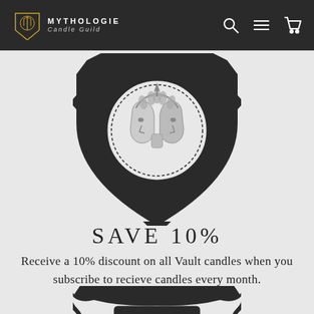MYTHOLOGIE Candle Guild — navigation bar with logo, search, menu, and cart icons
[Figure (illustration): Dark heraldic shield/crest with two-faced Janus head medallion in center, decorative border with crown at top]
SAVE 10%
Receive a 10% discount on all Vault candles when you subscribe to recieve candles every month.
[Figure (illustration): Partial dark heraldic shield/cartouche with decorative scrollwork and a gift box or chest with grid pattern, partially visible at bottom of page]